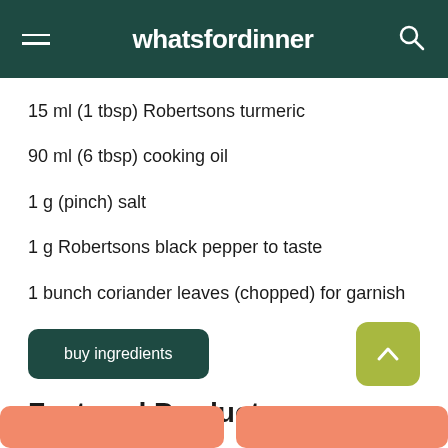whatsfordinner
15 ml (1 tbsp) Robertsons turmeric
90 ml (6 tbsp) cooking oil
1 g (pinch) salt
1 g Robertsons black pepper to taste
1 bunch coriander leaves (chopped) for garnish
buy ingredients
Featured Products